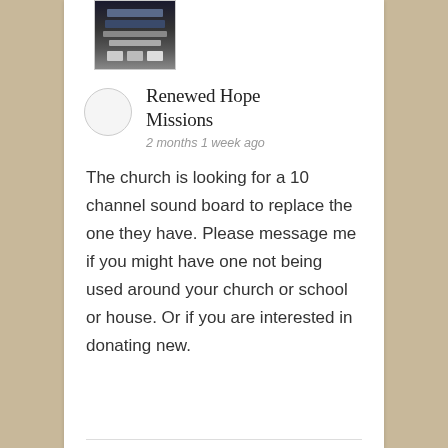[Figure (screenshot): Small thumbnail image showing a dark screenshot of a device/interface with multiple rows of content]
Renewed Hope Missions
2 months 1 week ago
The church is looking for a 10 channel sound board to replace the one they have. Please message me if you might have one not being used around your church or school or house. Or if you are interested in donating new.